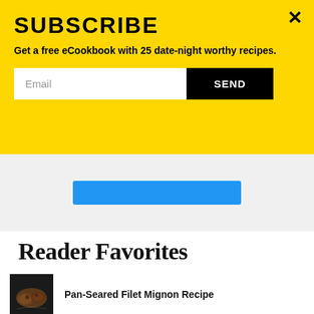SUBSCRIBE
Get a free eCookbook with 25 date-night worthy recipes.
Email | SEND
Reader Favorites
Pan-Seared Filet Mignon Recipe
Garlic Butter Steelhead Trout in Foil Recipe